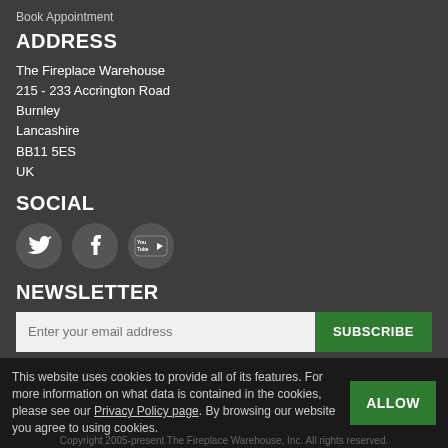Book Appointment
ADDRESS
The Fireplace Warehouse
215 - 233 Accrington Road
Burnley
Lancashire
BB11 5ES
UK
SOCIAL
[Figure (illustration): Three circular social media icons: Twitter (bird), Facebook (f), YouTube (play button with 'You Tube' text)]
NEWSLETTER
Enter your email address | SUBSCRIBE button
Subscribe to our free e-newsletter
[Figure (illustration): Payment method icons: PayPal, Visa, Mastercard, Maestro]
This website uses cookies to provide all of its features. For more information on what data is contained in the cookies, please see our Privacy Policy page. By browsing our website you agree to using cookies.
Copyright 2005-present The Fireplace Warehouse, Inc. All rights reserved.